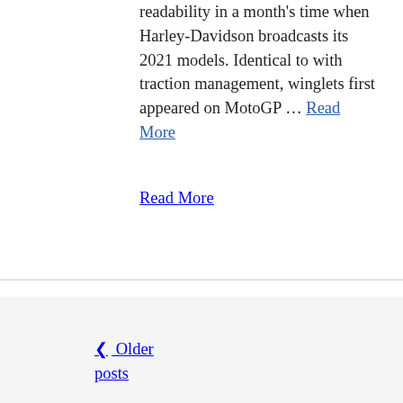readability in a month's time when Harley-Davidson broadcasts its 2021 models. Identical to with traction management, winglets first appeared on MotoGP … Read More
Read More
❮ Older posts